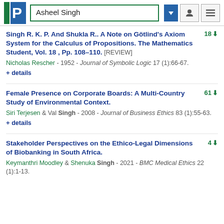Asheel Singh
Singh R. K. P. And Shukla R.. A Note on Götlind's Axiom System for the Calculus of Propositions. The Mathematics Student, Vol. 18 , Pp. 108–110. [REVIEW] — Nicholas Rescher - 1952 - Journal of Symbolic Logic 17 (1):66-67. + details. Citation count: 18
Female Presence on Corporate Boards: A Multi-Country Study of Environmental Context. — Siri Terjesen & Val Singh - 2008 - Journal of Business Ethics 83 (1):55-63. + details. Citation count: 61
Stakeholder Perspectives on the Ethico-Legal Dimensions of Biobanking in South Africa. — Keymanthri Moodley & Shenuka Singh - 2021 - BMC Medical Ethics 22 (1):1-13. Citation count: 4